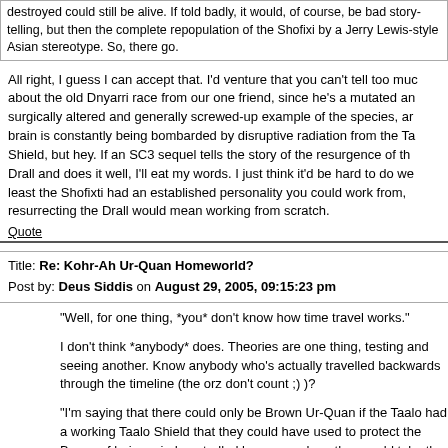destroyed could still be alive. If told badly, it would, of course, be bad story-telling, but then the complete repopulation of the Shofixi by a Jerry Lewis-style Asian stereotype. So, there go.
All right, I guess I can accept that. I'd venture that you can't tell too much about the old Dnyarri race from our one friend, since he's a mutated and surgically altered and generally screwed-up example of the species, and his brain is constantly being bombarded by disruptive radiation from the Ta Shield, but hey. If an SC3 sequel tells the story of the resurgence of the Drall and does it well, I'll eat my words. I just think it'd be hard to do we least the Shofixti had an established personality you could work from, w resurrecting the Drall would mean working from scratch.
Quote
Title: Re: Kohr-Ah Ur-Quan Homeworld?
Post by: Deus Siddis on August 29, 2005, 09:15:23 pm
"Well, for one thing, *you* don't know how time travel works."
I don't think *anybody* does. Theories are one thing, testing and seeing another. Know anybody who's actually travelled backwards through the timeline (the orz don't count ;) )?
"I'm saying that there could only be Brown Ur-Quan if the Taalo had a working Taalo Shield that they could have used to protect the Browns f being mind-controlled long enough so they could take the Browns throu whatever thing they used to go into another dimension,"